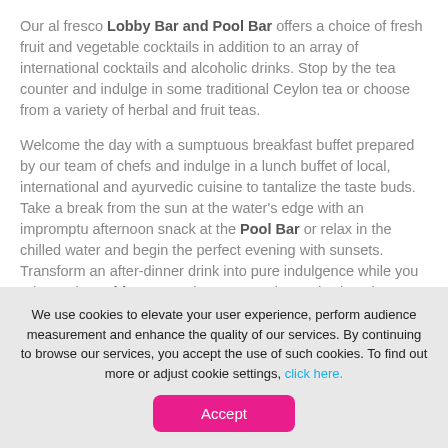Our al fresco Lobby Bar and Pool Bar offers a choice of fresh fruit and vegetable cocktails in addition to an array of international cocktails and alcoholic drinks. Stop by the tea counter and indulge in some traditional Ceylon tea or choose from a variety of herbal and fruit teas.
Welcome the day with a sumptuous breakfast buffet prepared by our team of chefs and indulge in a lunch buffet of local, international and ayurvedic cuisine to tantalize the taste buds. Take a break from the sun at the water's edge with an impromptu afternoon snack at the Pool Bar or relax in the chilled water and begin the perfect evening with sunsets. Transform an after-dinner drink into pure indulgence while you relax at the Lobby Bar. Enjoy tea, snacks, and Sri Lankan delicacies or savor a coffee and a good book while taking a break from the sun drenched beach.
We use cookies to elevate your user experience, perform audience measurement and enhance the quality of our services. By continuing to browse our services, you accept the use of such cookies. To find out more or adjust cookie settings, click here.